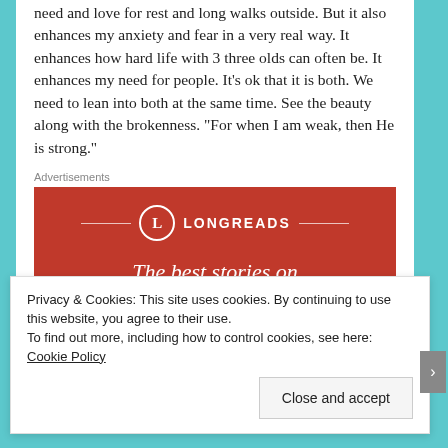need and love for rest and long walks outside. But it also enhances my anxiety and fear in a very real way. It enhances how hard life with 3 three olds can often be. It enhances my need for people. It’s ok that it is both. We need to lean into both at the same time. See the beauty along with the brokenness. “For when I am weak, then He is strong.”
Advertisements
[Figure (other): Longreads advertisement banner with red background, Longreads logo with circle L, decorative lines, and italic text: The best stories on the web – ours, and]
Privacy & Cookies: This site uses cookies. By continuing to use this website, you agree to their use.
To find out more, including how to control cookies, see here: Cookie Policy
Close and accept